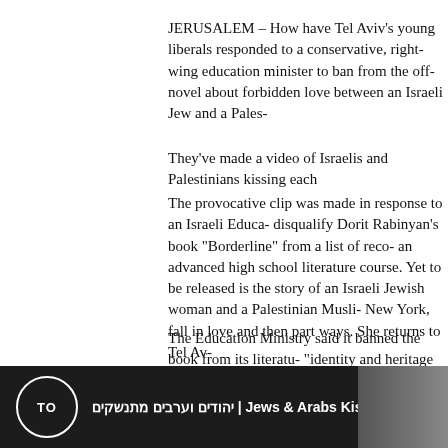JERUSALEM – How have Tel Aviv's young liberals responded to a conservative, right-wing education minister to ban from the off- novel about forbidden love between an Israeli Jew and a Pales-
They've made a video of Israelis and Palestinians kissing each
The provocative clip was made in response to an Israeli Educa- disqualify Dorit Rabinyan's book "Borderline" from a list of reco- an advanced high school literature course. Yet to be released is the story of an Israeli Jewish woman and a Palestinian Musli- New York, fall in love and then part ways. She returns to Tel Av-
The Education Ministry said it banned the book from its literatu- "identity and heritage of students in every sector." Ministry off- the "intimate relations between Jews and non-Jews threatens t- reported Israeli daily Haaretz, which broke the story a week ag-
Liberal Jewish lawmakers in Israel are among those protesting the boo- Post.
[Figure (screenshot): A dark-background video thumbnail or channel banner showing a circular logo with 'TO' text in the center, followed by Hebrew and English text reading 'יהודים וערבים מתנשקים | Jews & Arabs Kiss | سنو'. A portrait of a person is visible on the right side.]